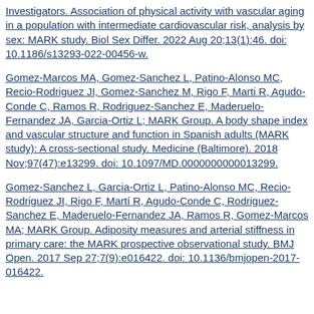Investigators. Association of physical activity with vascular aging in a population with intermediate cardiovascular risk, analysis by sex: MARK study. Biol Sex Differ. 2022 Aug 20;13(1):46. doi: 10.1186/s13293-022-00456-w.
Gomez-Marcos MA, Gomez-Sanchez L, Patino-Alonso MC, Recio-Rodriguez JI, Gomez-Sanchez M, Rigo F, Marti R, Agudo-Conde C, Ramos R, Rodriguez-Sanchez E, Maderuelo-Fernandez JA, Garcia-Ortiz L; MARK Group. A body shape index and vascular structure and function in Spanish adults (MARK study): A cross-sectional study. Medicine (Baltimore). 2018 Nov;97(47):e13299. doi: 10.1097/MD.0000000000013299.
Gomez-Sanchez L, Garcia-Ortiz L, Patino-Alonso MC, Recio-Rodriguez JI, Rigo F, Martí R, Agudo-Conde C, Rodriguez-Sanchez E, Maderuelo-Fernandez JA, Ramos R, Gomez-Marcos MA; MARK Group. Adiposity measures and arterial stiffness in primary care: the MARK prospective observational study. BMJ Open. 2017 Sep 27;7(9):e016422. doi: 10.1136/bmjopen-2017-016422.